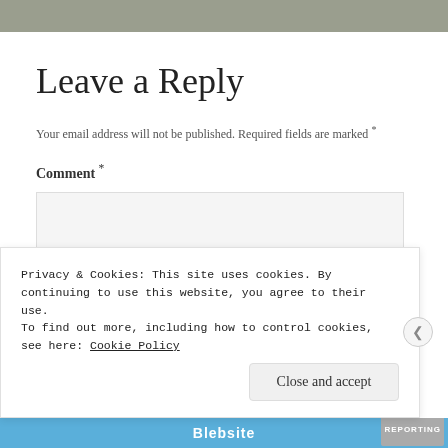Leave a Reply
Your email address will not be published. Required fields are marked *
Comment *
[Figure (screenshot): Empty comment text area input box with light grey background]
Privacy & Cookies: This site uses cookies. By continuing to use this website, you agree to their use. To find out more, including how to control cookies, see here: Cookie Policy
Close and accept